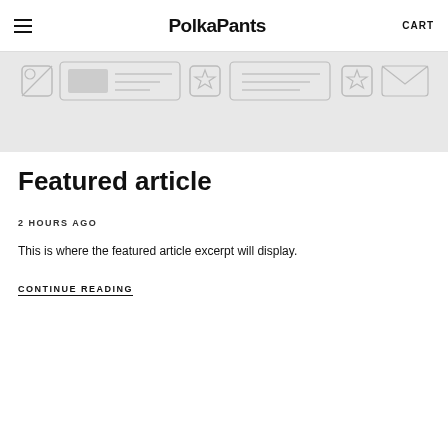PolkaPants   CART
[Figure (other): Horizontal banner strip with faint placeholder icons/images on a light grey background]
Featured article
2 HOURS AGO
This is where the featured article excerpt will display.
CONTINUE READING